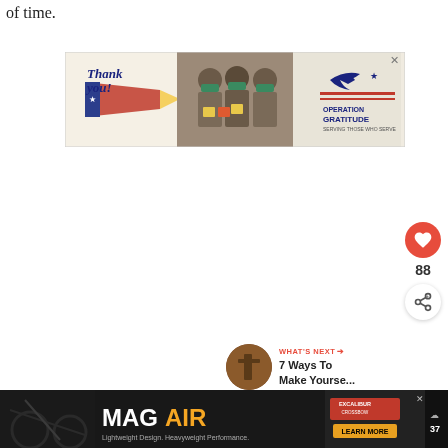of time.
[Figure (photo): Operation Gratitude advertisement banner showing 'Thank you!' text with a pencil decorated with US flag, three masked healthcare workers holding cards, and Operation Gratitude logo with eagle]
[Figure (infographic): Heart/like button (red circle with white heart icon), count of 88, and share button (white circle with share icon)]
[Figure (infographic): What's Next panel with thumbnail and title '7 Ways To Make Yourse...']
[Figure (photo): Bottom advertisement bar: MagAir with tagline 'Lightweight Design. Heavyweight Performance.' and Excalibur brand with Learn More button]